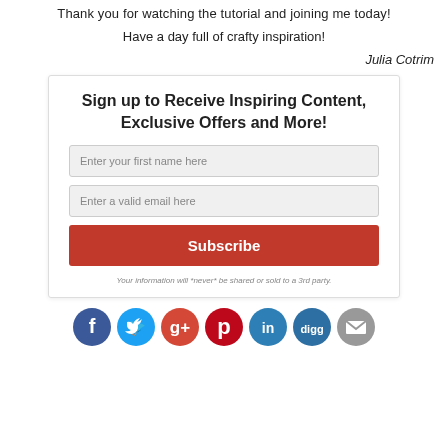Thank you for watching the tutorial and joining me today!
Have a day full of crafty inspiration!
Julia Cotrim
Sign up to Receive Inspiring Content, Exclusive Offers and More!
Enter your first name here
Enter a valid email here
Subscribe
Your information will *never* be shared or sold to a 3rd party.
[Figure (infographic): Row of 7 social media icons: Facebook (blue), Twitter (cyan), Google+ (orange-red), Pinterest (red), LinkedIn (teal), Digg (dark teal), Email (gray)]